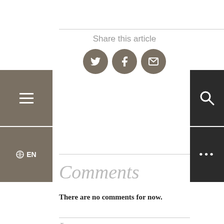[Figure (infographic): Share this article section with Twitter, Facebook, and email icons on circular brown/taupe buttons]
Comments
There are no comments for now.
Leave a comment
Name *
Email address * This is for content moderation. Your email address